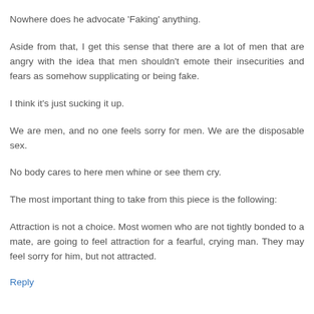Nowhere does he advocate 'Faking' anything.
Aside from that, I get this sense that there are a lot of men that are angry with the idea that men shouldn't emote their insecurities and fears as somehow supplicating or being fake.
I think it's just sucking it up.
We are men, and no one feels sorry for men. We are the disposable sex.
No body cares to here men whine or see them cry.
The most important thing to take from this piece is the following:
Attraction is not a choice. Most women who are not tightly bonded to a mate, are going to feel attraction for a fearful, crying man. They may feel sorry for him, but not attracted.
Reply